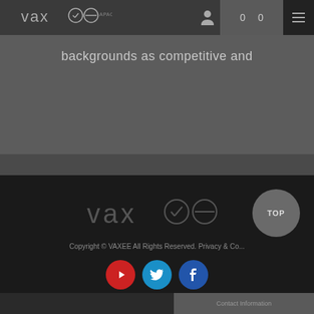VAXEE APAC — header navigation with logo, user icon, cart (0, 0), and menu
backgrounds as competitive and
[Figure (logo): VAXEE logo in footer, light gray on dark background]
Copyright © VAXEE All Rights Reserved. Privacy & Co...
[Figure (other): Social media icons: YouTube (red), Twitter (blue), Facebook (blue)]
[Figure (other): TOP button - circular gray button in bottom right]